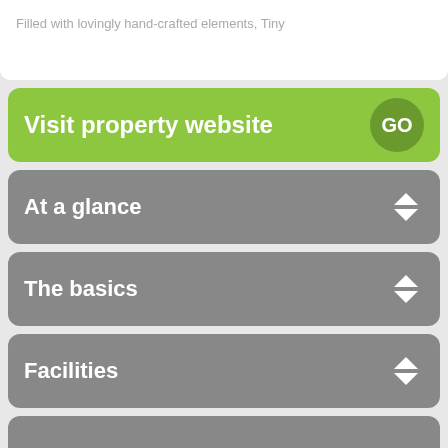Filled with lovingly hand-crafted elements, Tiny
Visit property website
At a glance
The basics
Facilities
Availability